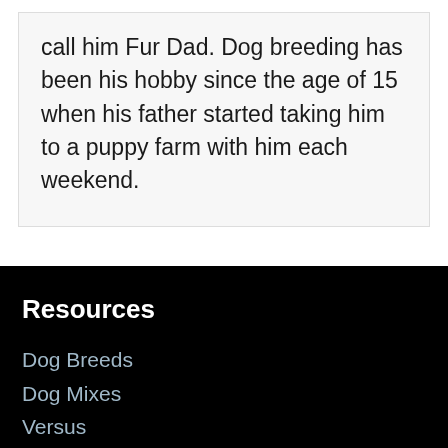call him Fur Dad. Dog breeding has been his hobby since the age of 15 when his father started taking him to a puppy farm with him each weekend.
Resources
Dog Breeds
Dog Mixes
Versus